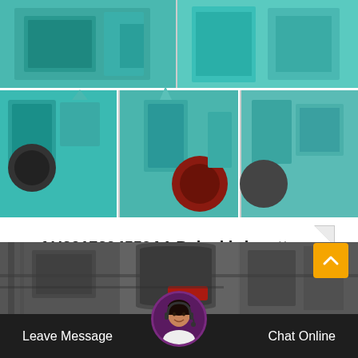[Figure (photo): Grid of teal/turquoise industrial briquette-making machines in a factory setting, shown in multiple views]
AU2017294559A1 Baked briquettes containing a burnt
AU2017294559A1 AU2017294559A AU2017294559A AU2017294559A1 AU 2017294559 A1 AU2017294559 A1 AU 2017294559A1 AU 2017294559 A AU2017294559 A …
[Figure (photo): Industrial machinery in black and grey tones, large cylindrical equipment]
Leave Message
Chat Online